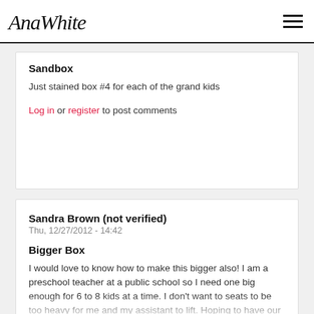AnaWhite
Sandbox
Just stained box #4 for each of the grand kids
Log in or register to post comments
Sandra Brown (not verified)
Thu, 12/27/2012 - 14:42
Bigger Box
I would love to know how to make this bigger also! I am a preschool teacher at a public school so I need one big enough for 6 to 8 kids at a time. I don't want to seats to be too heavy for me and my assistant to lift. Hoping to have our All-Pro Dads help with this